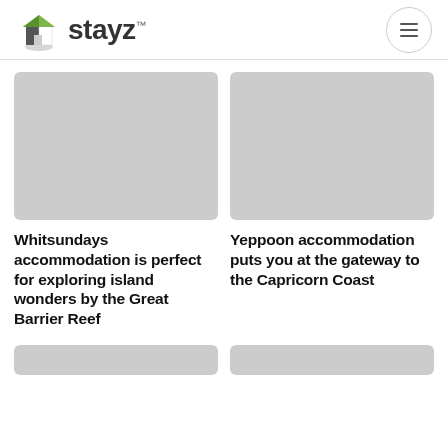stayz™
[Figure (photo): Gray placeholder image for Whitsundays accommodation card]
Whitsundays accommodation is perfect for exploring island wonders by the Great Barrier Reef
[Figure (photo): Gray placeholder image for Yeppoon accommodation card]
Yeppoon accommodation puts you at the gateway to the Capricorn Coast
[Figure (photo): Gray placeholder image bottom left card]
[Figure (photo): Gray placeholder image bottom right card]